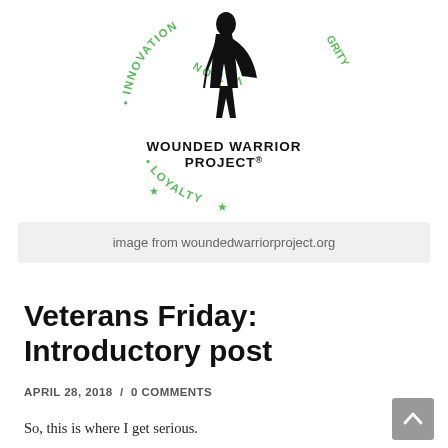[Figure (logo): Wounded Warrior Project circular logo with soldier silhouette, green text reading INNOVATION, LOYALTY, INTEGRITY around the circle]
image from woundedwarriorproject.org
Veterans Friday: Introductory post
APRIL 28, 2018 / 0 COMMENTS
So, this is where I get serious.
As a former member of the U.S. Armed Forces, I'm honored to have my country as best I could. Anyone